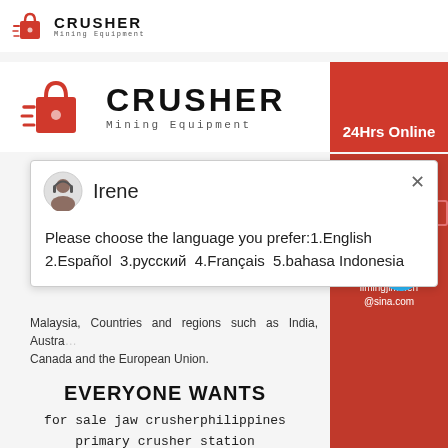[Figure (logo): Crusher Mining Equipment logo — red shopping bag with speed lines, bold black CRUSHER text, smaller Mining Equipment subtitle]
[Figure (logo): Large Crusher Mining Equipment logo with red bag icon, bold CRUSHER text, Mining Equipment subtitle, and red 24Hrs Online badge]
Irene
Please choose the language you prefer:1.English 2.Español 3.русский 4.Français 5.bahasa Indonesia
Malaysia, Countries and regions such as India, Austra... Canada and the European Union.
Need & sugg... Chat Now
Enquiry
limingjlmofen@sina.com
EVERYONE WANTS
for sale jaw crusherphilippines
primary crusher station